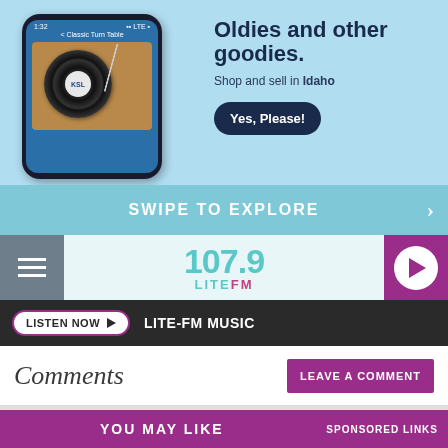[Figure (screenshot): Advertisement banner showing a smartphone with a turntable/vinyl record app screen, KSL label on vinyl. Light blue background.]
Oldies and other goodies.
Shop and sell in Idaho
Yes, Please!
SWIPE TO EXPLORE
[Figure (logo): 107.9 LITE FM radio station logo in teal/pink colors]
LISTEN NOW ▶  LITE-FM MUSIC
Comments
LEAVE A COMMENT
YOU MAY LIKE
SPONSORED LINKS